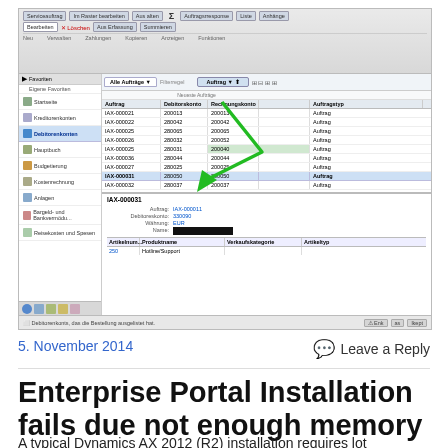[Figure (screenshot): Screenshot of a German-language ERP software (Microsoft Dynamics AX) showing a list of sales orders (Aufträge) with a green checkmark/arrow overlay, and a detail panel for order IAX-000031 including fields for Auftrag, Debitorenkonto, Währung, Name, and an articles section showing Hotline/Support.]
5. November 2014
Leave a Reply
Enterprise Portal Installation fails due not enough memory
A typical Dynamics AX 2012 (R2) installation requires lot